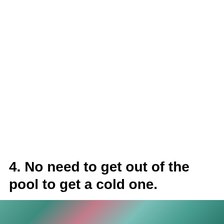4. No need to get out of the pool to get a cold one.
[Figure (photo): Colorful photo strip at the bottom of the page, showing a partial view of a pool scene with teal and pink tones.]